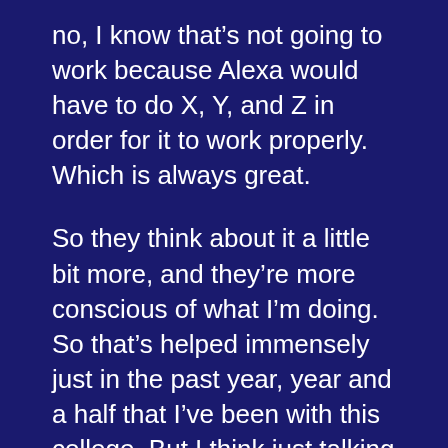no, I know that’s not going to work because Alexa would have to do X, Y, and Z in order for it to work properly. Which is always great.
So they think about it a little bit more, and they’re more conscious of what I’m doing. So that’s helped immensely just in the past year, year and a half that I’ve been with this college. But I think just talking about it more and bringing more awareness around the subject helps the entire digital community a lot.
Cause I get people all the time now. They’re